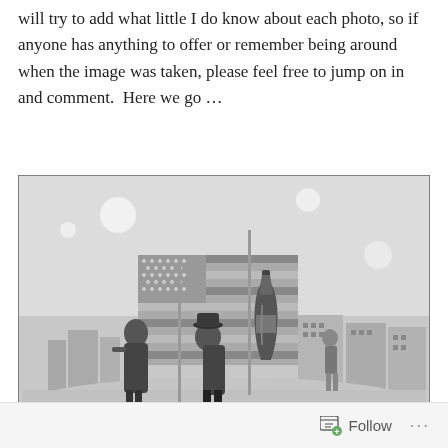will try to add what little I do know about each photo, so if anyone has anything to offer or remember being around when the image was taken, please feel free to jump on in and comment.  Here we go …
[Figure (photo): Black and white photograph showing people on a float or platform with an American flag and a large Coca-Cola bottle prop. A person in a swimsuit stands next to the bottle. Buildings visible in the background.]
Follow ···